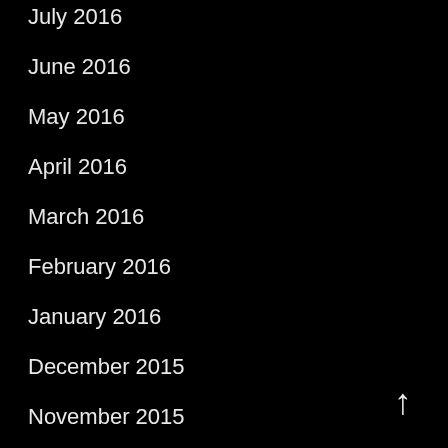July 2016
June 2016
May 2016
April 2016
March 2016
February 2016
January 2016
December 2015
November 2015
October 2015
September 2015
August 2015